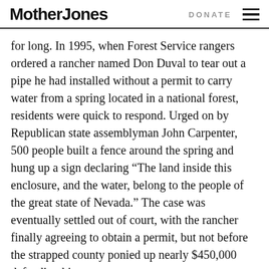Mother Jones | DONATE
for long. In 1995, when Forest Service rangers ordered a rancher named Don Duval to tear out a pipe he had installed without a permit to carry water from a spring located in a national forest, residents were quick to respond. Urged on by Republican state assemblyman John Carpenter, 500 people built a fence around the spring and hung up a sign declaring “The land inside this enclosure, and the water, belong to the people of the great state of Nevada.” The case was eventually settled out of court, with the rancher finally agreeing to obtain a permit, but not before the strapped county ponied up nearly $450,000 defending him.